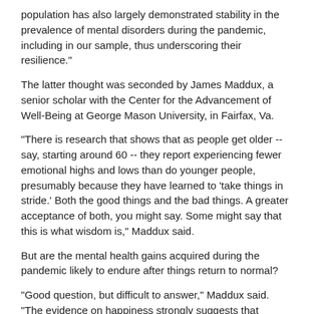population has also largely demonstrated stability in the prevalence of mental disorders during the pandemic, including in our sample, thus underscoring their resilience."
The latter thought was seconded by James Maddux, a senior scholar with the Center for the Advancement of Well-Being at George Mason University, in Fairfax, Va.
"There is research that shows that as people get older -- say, starting around 60 -- they report experiencing fewer emotional highs and lows than do younger people, presumably because they have learned to 'take things in stride.' Both the good things and the bad things. A greater acceptance of both, you might say. Some might say that this is what wisdom is," Maddux said.
But are the mental health gains acquired during the pandemic likely to endure after things return to normal?
"Good question, but difficult to answer," Maddux said. "The evidence on happiness strongly suggests that following very negative or very positive life events, most people return to their pre-event level of happiness and life satisfaction. This suggests to me that most people, being creatures of habit, are going to return to the day-to-day lives they were living pre-pandemic."